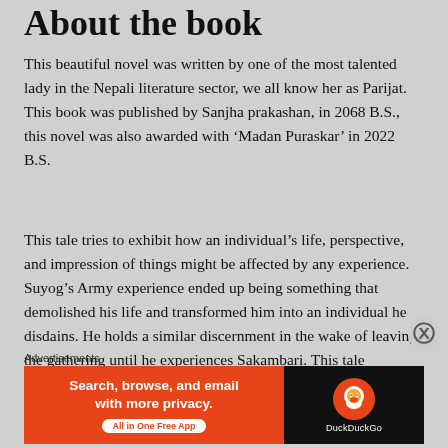About the book
This beautiful novel was written by one of the most talented lady in the Nepali literature sector, we all know her as Parijat. This book was published by Sanjha prakashan, in 2068 B.S., this novel was also awarded with ‘Madan Puraskar’ in 2022 B.S.
This tale tries to exhibit how an individual’s life, perspective, and impression of things might be affected by any experience. Suyog’s Army experience ended up being something that demolished his life and transformed him into an individual he disdains. He holds a similar discernment in the wake of leaving the gathering until he experiences Sakambari. This tale
Advertisements
[Figure (screenshot): DuckDuckGo advertisement banner: orange left section with text 'Search, browse, and email with more privacy. All in One Free App' and dark right section with DuckDuckGo logo]